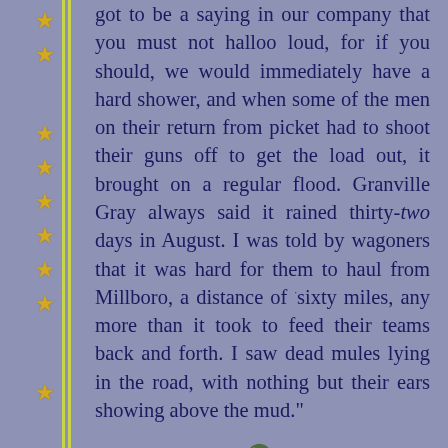got to be a saying in our company that you must not halloo loud, for if you should, we would immediately have a hard shower, and when some of the men on their return from picket had to shoot their guns off to get the load out, it brought on a regular flood. Granville Gray always said it rained thirty-two days in August. I was told by wagoners that it was hard for them to haul from Millboro, a distance of sixty miles, any more than it took to feed their teams back and forth. I saw dead mules lying in the road, with nothing but their ears showing above the mud."
[Figure (illustration): Small decorative icon of a golden helmet or warrior figure]
75 Richmond Examiner, Sept. 24, 1861, p2, col. 3. The records show no such paper-plan